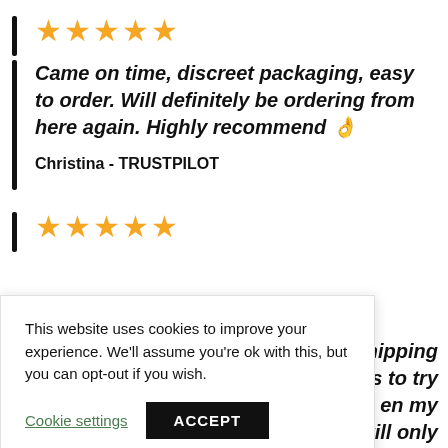★★★★★
Came on time, discreet packaging, easy to order. Will definitely be ordering from here again. Highly recommend 👌
Christina - TRUSTPILOT
★★★★★
...shipping ...bies to try ...en my will only
This website uses cookies to improve your experience. We'll assume you're ok with this, but you can opt-out if you wish.
Cookie settings
ACCEPT
shop with them (USA)